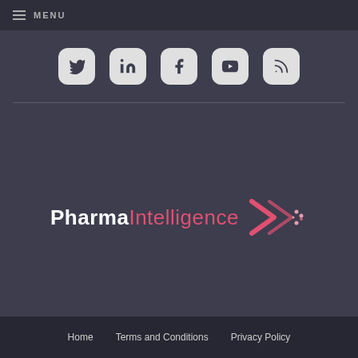MENU
[Figure (other): Social media icons row: Twitter, LinkedIn, Facebook, YouTube, RSS]
[Figure (logo): Pharma Intelligence logo with double chevron arrow graphic]
Home   Terms and Conditions   Privacy Policy